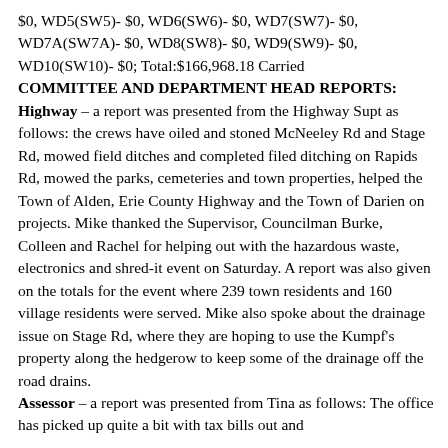$0, WD5(SW5)- $0, WD6(SW6)- $0, WD7(SW7)- $0, WD7A(SW7A)- $0, WD8(SW8)- $0, WD9(SW9)- $0, WD10(SW10)- $0; Total:$166,968.18 Carried
COMMITTEE AND DEPARTMENT HEAD REPORTS:
Highway – a report was presented from the Highway Supt as follows: the crews have oiled and stoned McNeeley Rd and Stage Rd, mowed field ditches and completed filed ditching on Rapids Rd, mowed the parks, cemeteries and town properties, helped the Town of Alden, Erie County Highway and the Town of Darien on projects. Mike thanked the Supervisor, Councilman Burke, Colleen and Rachel for helping out with the hazardous waste, electronics and shred-it event on Saturday. A report was also given on the totals for the event where 239 town residents and 160 village residents were served. Mike also spoke about the drainage issue on Stage Rd, where they are hoping to use the Kumpf's property along the hedgerow to keep some of the drainage off the road drains.
Assessor – a report was presented from Tina as follows: The office has picked up quite a bit with tax bills out and